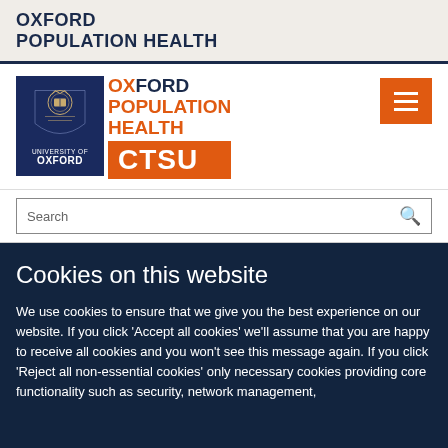OXFORD POPULATION HEALTH
[Figure (logo): Oxford Population Health CTSU logo with University of Oxford crest badge on dark blue background, text logo showing OXFORD POPULATION HEALTH in dark blue/orange, and CTSU in white on orange box]
Search
Cookies on this website
We use cookies to ensure that we give you the best experience on our website. If you click 'Accept all cookies' we'll assume that you are happy to receive all cookies and you won't see this message again. If you click 'Reject all non-essential cookies' only necessary cookies providing core functionality such as security, network management,